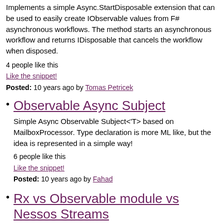Implements a simple Async.StartDisposable extension that can be used to easily create IObservable values from F# asynchronous workflows. The method starts an asynchronous workflow and returns IDisposable that cancels the workflow when disposed.
4 people like this
Like the snippet!
Posted: 10 years ago by Tomas Petricek
Observable Async Subject
Simple Async Observable Subject<'T> based on MailboxProcessor. Type declaration is more ML like, but the idea is represented in a simple way!
6 people like this
Like the snippet!
Posted: 10 years ago by Fahad
Rx vs Observable module vs Nessos Streams
Naive performance comparison of push model libraries: